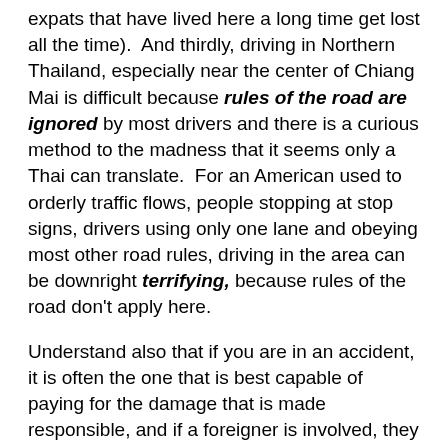expats that have lived here a long time get lost all the time).  And thirdly, driving in Northern Thailand, especially near the center of Chiang Mai is difficult because rules of the road are ignored by most drivers and there is a curious method to the madness that it seems only a Thai can translate.  For an American used to orderly traffic flows, people stopping at stop signs, drivers using only one lane and obeying most other road rules, driving in the area can be downright terrifying, because rules of the road don't apply here.
Understand also that if you are in an accident, it is often the one that is best capable of paying for the damage that is made responsible, and if a foreigner is involved, they are usually picked by the police on the spot to take care of it.  A passport is often confiscated until the situation is resolved.
Down in Bangkok, there are millions of cheap, comfortable taxis all over the city.  You just have to stick your hand out,